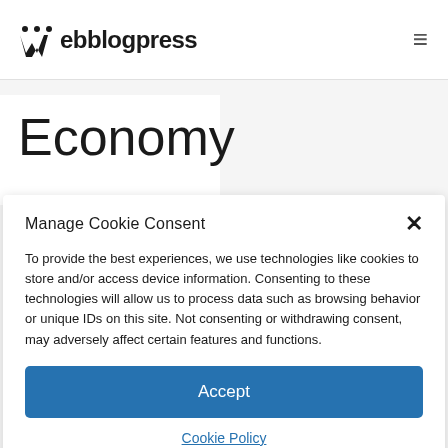webblogpress
Economy
Manage Cookie Consent
To provide the best experiences, we use technologies like cookies to store and/or access device information. Consenting to these technologies will allow us to process data such as browsing behavior or unique IDs on this site. Not consenting or withdrawing consent, may adversely affect certain features and functions.
Accept
Cookie Policy